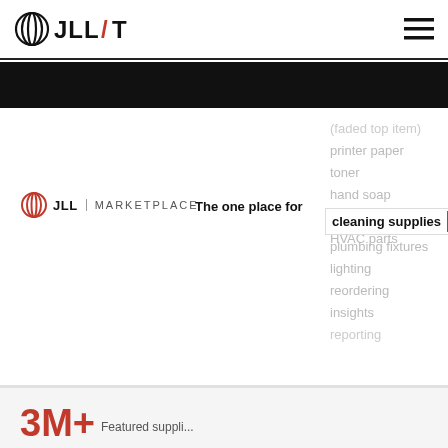[Figure (logo): JLL/T logo in top navigation bar with black circular emblem and text 'JLL/T' where slash is red]
[Figure (logo): Hamburger menu icon (three horizontal lines) in top right of navigation]
[Figure (screenshot): JLL Marketplace interface showing 'The one place for' search bar with dropdown suggestions: printer paper, toner, hand soap, paper towels, HVAC parts, cleaning supplies (active/selected), plumbing fixtures, lighting, reordering, insights, reporting. Also shows JLL Marketplace logo on the left.]
3M+ Featured suppli...